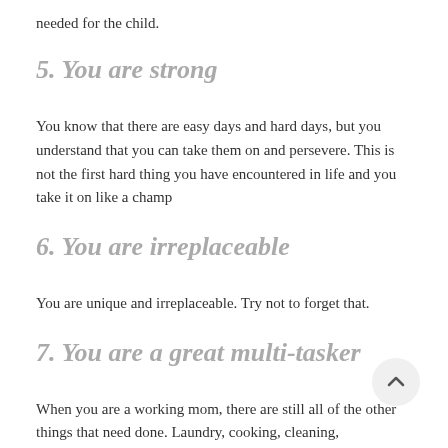needed for the child.
5. You are strong
You know that there are easy days and hard days, but you understand that you can take them on and persevere. This is not the first hard thing you have encountered in life and you take it on like a champ
6. You are irreplaceable
You are unique and irreplaceable. Try not to forget that.
7. You are a great multi-tasker
When you are a working mom, there are still all of the other things that need done. Laundry, cooking, cleaning,